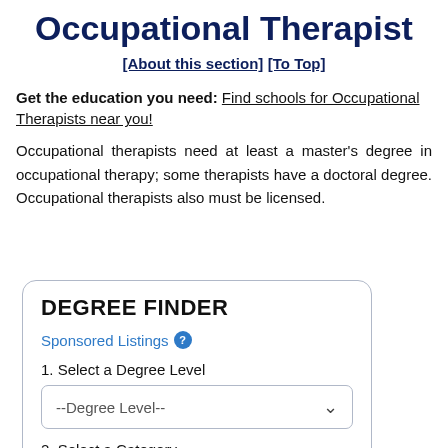Occupational Therapist
[About this section] [To Top]
Get the education you need: Find schools for Occupational Therapists near you!
Occupational therapists need at least a master's degree in occupational therapy; some therapists have a doctoral degree. Occupational therapists also must be licensed.
[Figure (screenshot): Degree Finder widget with Sponsored Listings label, dropdown for Degree Level, and dropdown for Category]
DEGREE FINDER
Sponsored Listings
1. Select a Degree Level
--Degree Level--
2. Select a Category